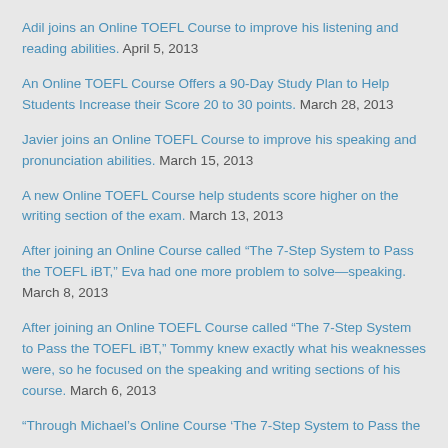Adil joins an Online TOEFL Course to improve his listening and reading abilities. April 5, 2013
An Online TOEFL Course Offers a 90-Day Study Plan to Help Students Increase their Score 20 to 30 points. March 28, 2013
Javier joins an Online TOEFL Course to improve his speaking and pronunciation abilities. March 15, 2013
A new Online TOEFL Course help students score higher on the writing section of the exam. March 13, 2013
After joining an Online Course called “The 7-Step System to Pass the TOEFL iBT,” Eva had one more problem to solve—speaking. March 8, 2013
After joining an Online TOEFL Course called “The 7-Step System to Pass the TOEFL iBT,” Tommy knew exactly what his weaknesses were, so he focused on the speaking and writing sections of his course. March 6, 2013
“Through Michael’s Online Course ‘The 7-Step System to Pass the